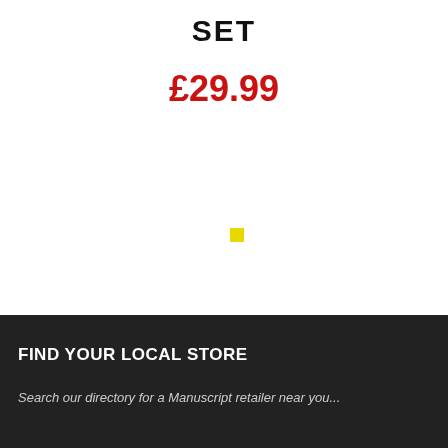SET
£29.99
[Figure (other): Small yellow square dot/loading indicator in the center of the white section]
FIND YOUR LOCAL STORE
Search our directory for a Manuscript retailer near you...